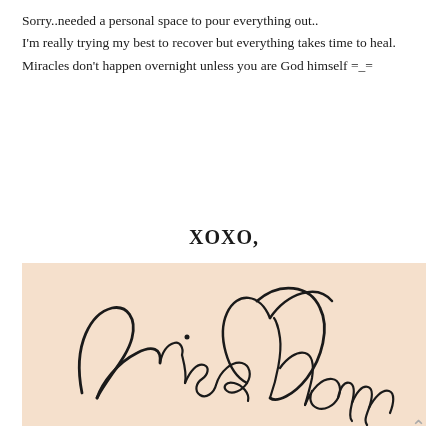Sorry..needed a personal space to pour everything out..
I'm really trying my best to recover but everything takes time to heal.
Miracles don't happen overnight unless you are God himself =_=
XOXO,
[Figure (illustration): Cursive handwritten signature reading 'Arisa Chow' on a light peach/beige background]
^